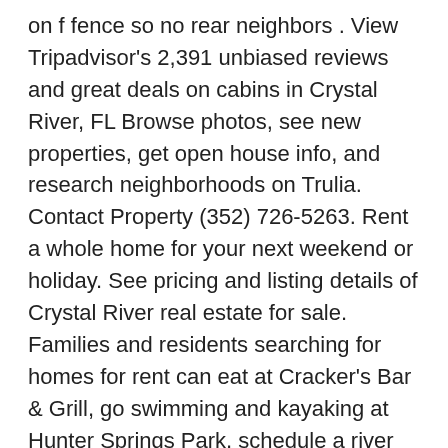on f fence so no rear neighbors . View Tripadvisor's 2,391 unbiased reviews and great deals on cabins in Crystal River, FL Browse photos, see new properties, get open house info, and research neighborhoods on Trulia. Contact Property (352) 726-5263. Rent a whole home for your next weekend or holiday. See pricing and listing details of Crystal River real estate for sale. Families and residents searching for homes for rent can eat at Cracker's Bar & Grill, go swimming and kayaking at Hunter Springs Park, schedule a river tour with Sunshine River Tours. Mobile Homes for Rent in Crystal River, FL on Oodle Classifieds. Best shad... Tools. If you don't see something that catches your eye, we're pleased to order you a new custom home. Find Crystal River apartments, condos, town homes, single family homes and much more on Trulia. See all 1 3 bedroom houses in Bay Villa, Crystal River, FL currently available for rent. You can also find Manufactured